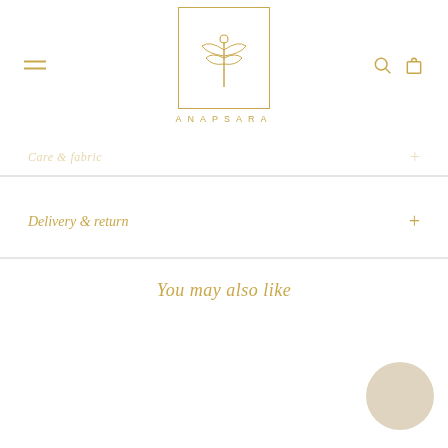[Figure (logo): Anapsara brand logo: dragonfly icon inside a gold rectangle border, with 'ANAPSARA' text in gold spaced lettering below]
Delivery & return
You may also like